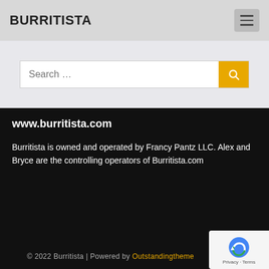BURRITISTA
[Figure (screenshot): Search bar with placeholder text 'Search ...' and an orange search button with magnifying glass icon]
www.burritista.com
Burritista is owned and operated by Francy Pantz LLC. Alex and Bryce are the controlling operators of Burritista.com
© 2022 Burritista | Powered by Outstandingtheme